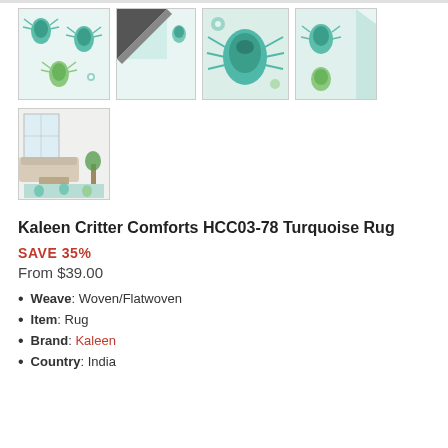[Figure (photo): Four thumbnail images of Kaleen Critter Comforts HCC03-78 Turquoise Rug showing beetle/bug pattern in turquoise and green on cream background, plus back of rug and close-up details]
[Figure (photo): Room lifestyle photo showing the turquoise bug-patterned rug in a bright living room setting]
Kaleen Critter Comforts HCC03-78 Turquoise Rug
SAVE 35%
From $39.00
Weave: Woven/Flatwoven
Item: Rug
Brand: Kaleen
Country: India